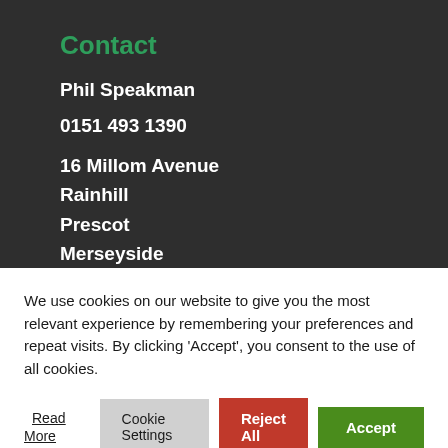Contact
Phil Speakman
0151 493 1390
16 Millom Avenue
Rainhill
Prescot
Merseyside
L35 8LU
We use cookies on our website to give you the most relevant experience by remembering your preferences and repeat visits. By clicking 'Accept', you consent to the use of all cookies.
Read More
Cookie Settings
Reject All
Accept